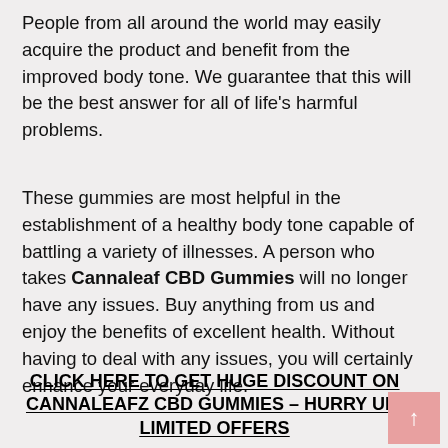People from all around the world may easily acquire the product and benefit from the improved body tone. We guarantee that this will be the best answer for all of life's harmful problems.
These gummies are most helpful in the establishment of a healthy body tone capable of battling a variety of illnesses. A person who takes Cannaleaf CBD Gummies will no longer have any issues. Buy anything from us and enjoy the benefits of excellent health. Without having to deal with any issues, you will certainly enhance your everyday life.
CLICK HERE TO GET HUGE DISCOUNT ON CANNALEAFZ CBD GUMMIES – HURRY UP! LIMITED OFFERS